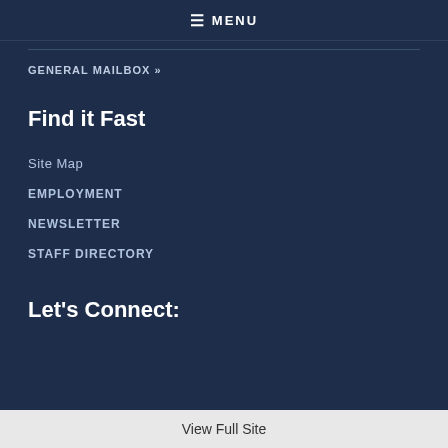☰ MENU
GENERAL MAILBOX »
Find it Fast
Site Map
EMPLOYMENT
NEWSLETTER
STAFF DIRECTORY
Let's Connect:
View Full Site